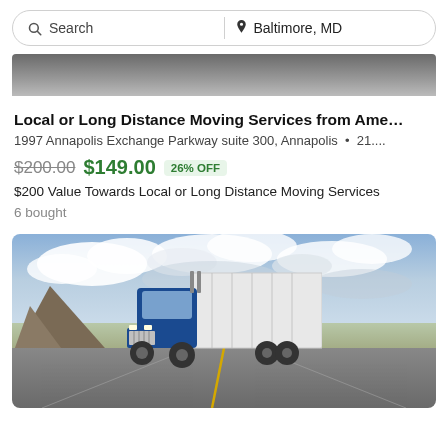Search | Baltimore, MD
[Figure (photo): Top portion of a dark/grey image, partially visible at top of page]
Local or Long Distance Moving Services from Ame…
1997 Annapolis Exchange Parkway suite 300, Annapolis  •  21....
$200.00  $149.00  26% OFF
$200 Value Towards Local or Long Distance Moving Services
6 bought
[Figure (photo): A blue semi-truck (18-wheeler) driving on a long straight desert highway with dramatic cloudy sky and mountains in background]